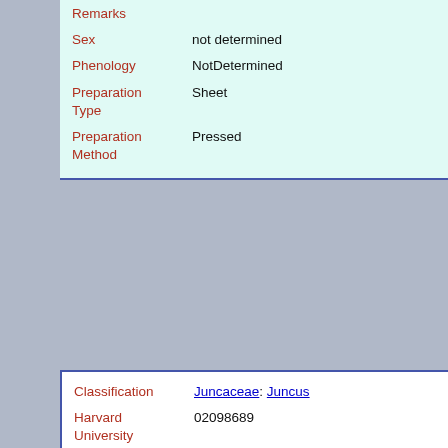| Field | Value |
| --- | --- |
| Remarks |  |
| Sex | not determined |
| Phenology | NotDetermined |
| Preparation Type | Sheet |
| Preparation Method | Pressed |
| Field | Value |
| --- | --- |
| Classification | Juncaceae: Juncus |
| Harvard University Herbaria Barcode(s) | 02098689 |
| Collector | G. H. Turner |
| Collector number | 1567 |
| Country | Canada |
| State | Alberta |
| Geography | North America: North America (CA, US, MX) (Region): C Alberta: Fort Saskatchewan |
| Locality | [data not captured] |